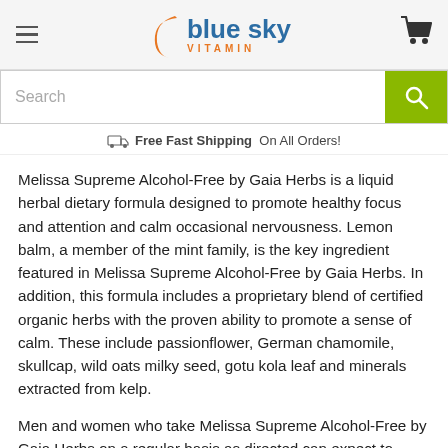Blue Sky Vitamin
[Figure (logo): Blue Sky Vitamin logo with orange swoosh and cart icon]
[Figure (screenshot): Search bar with green search button]
Free Fast Shipping On All Orders!
Melissa Supreme Alcohol-Free by Gaia Herbs is a liquid herbal dietary formula designed to promote healthy focus and attention and calm occasional nervousness. Lemon balm, a member of the mint family, is the key ingredient featured in Melissa Supreme Alcohol-Free by Gaia Herbs. In addition, this formula includes a proprietary blend of certified organic herbs with the proven ability to promote a sense of calm. These include passionflower, German chamomile, skullcap, wild oats milky seed, gotu kola leaf and minerals extracted from kelp.
Men and women who take Melissa Supreme Alcohol-Free by Gaia Herbs on a regular basis as directed can expect to enjoy a range of